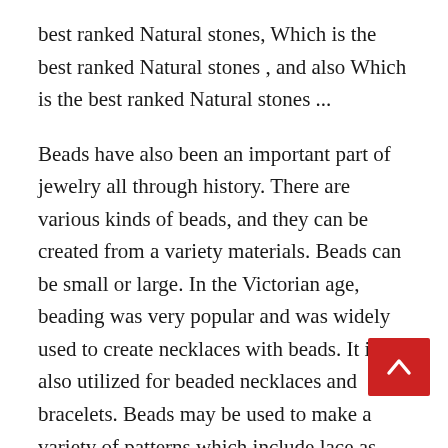best ranked Natural stones, Which is the best ranked Natural stones , and also Which is the best ranked Natural stones ...
Beads have also been an important part of jewelry all through history. There are various kinds of beads, and they can be created from a variety materials. Beads can be small or large. In the Victorian age, beading was very popular and was widely used to create necklaces with beads. It is also utilized for beaded necklaces and bracelets. Beads may be used to make a variety of patterns which include lace as well as metal.
The history of jewelry is rich with history. The earliest forms of jewelry comprised of metal and were usually decorated with gold, silver, or copper.